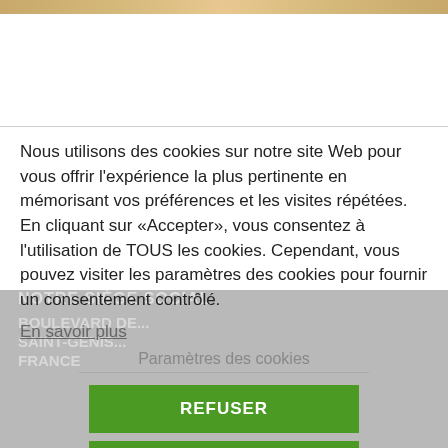[Figure (photo): Top decorative image bar with warm tones]
Nous utilisons des cookies sur notre site Web pour vous offrir l'expérience la plus pertinente en mémorisant vos préférences et les visites répétées. En cliquant sur «Accepter», vous consentez à l'utilisation de TOUS les cookies. Cependant, vous pouvez visiter les paramètres des cookies pour fournir un consentement contrôlé.
En savoir plus
Paramètres des cookies
REFUSER
ACCEPTER